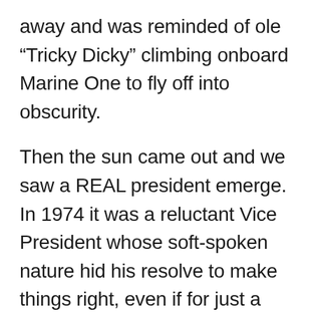away and was reminded of ole “Tricky Dicky” climbing onboard Marine One to fly off into obscurity.
Then the sun came out and we saw a REAL president emerge.  In 1974 it was a reluctant Vice President whose soft-spoken nature hid his resolve to make things right, even if for just a little while. Today it was a sleeping giant who has finally had enough of the chaos and